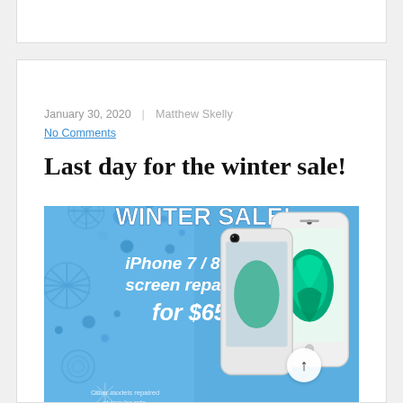January 30, 2020 | Matthew Skelly
No Comments
Last day for the winter sale!
[Figure (illustration): Winter Sale promotional banner for iPhone 7/8 screen repair for $65. Blue background with snowflake decorations on the left, two iPhones shown on the right, text: WINTER SALE! iPhone 7 / 8 screen repair for $65. Other models repaired at regular rate.]